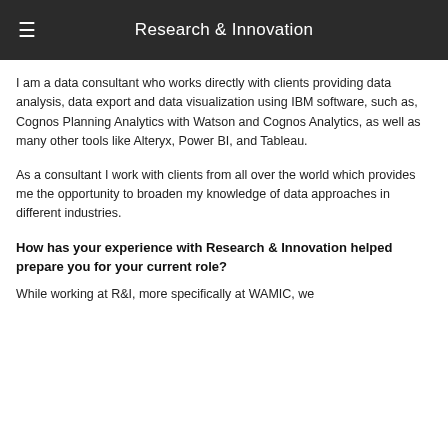Research & Innovation
I am a data consultant who works directly with clients providing data analysis, data export and data visualization using IBM software, such as, Cognos Planning Analytics with Watson and Cognos Analytics, as well as many other tools like Alteryx, Power BI, and Tableau.
As a consultant I work with clients from all over the world which provides me the opportunity to broaden my knowledge of data approaches in different industries.
How has your experience with Research & Innovation helped prepare you for your current role?
While working at R&I, more specifically at WAMIC, we